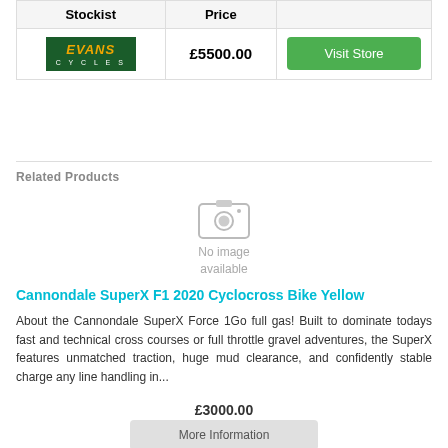| Stockist | Price |  |
| --- | --- | --- |
| Evans Cycles (logo) | £5500.00 | Visit Store |
Related Products
[Figure (photo): No image available placeholder with camera icon]
Cannondale SuperX F1 2020 Cyclocross Bike Yellow
About the Cannondale SuperX Force 1Go full gas! Built to dominate todays fast and technical cross courses or full throttle gravel adventures, the SuperX features unmatched traction, huge mud clearance, and confidently stable charge any line handling in...
£3000.00
More Information